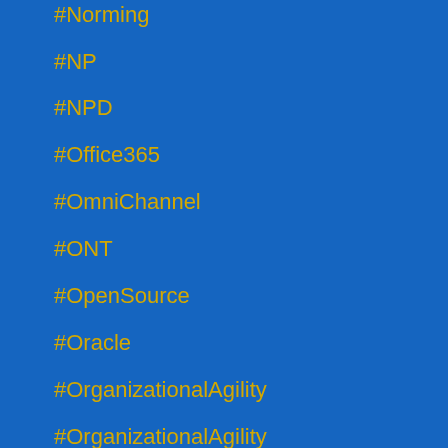#Norming
#NP
#NPD
#Office365
#OmniChannel
#ONT
#OpenSource
#Oracle
#OrganizationalAgility
#OrganizationalAgility